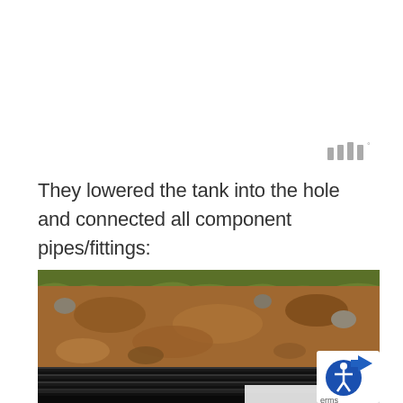[Figure (logo): Small gray logo mark with vertical bars and a degree symbol superscript]
They lowered the tank into the hole and connected all component pipes/fittings:
[Figure (photo): Photo of a septic tank being lowered into an excavated hole. The top portion shows a dirt and grass bank, and the bottom shows the black corrugated tank being installed.]